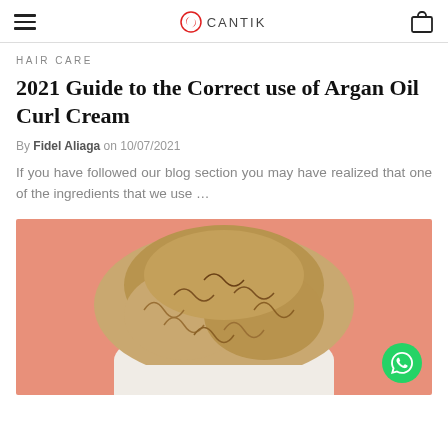CANTIK
HAIR CARE
2021 Guide to the Correct use of Argan Oil Curl Cream
By Fidel Aliaga on 10/07/2021
If you have followed our blog section you may have realized that one of the ingredients that we use …
[Figure (photo): Back of a person's head showing curly/frizzy hair, against a salmon/coral pink background]